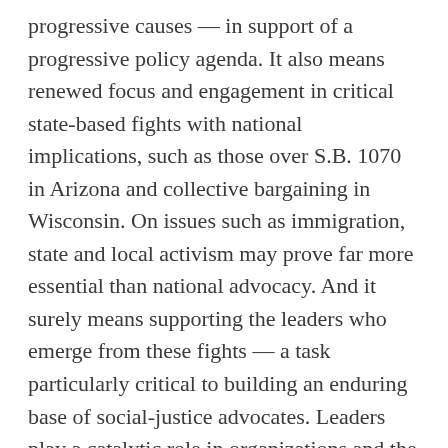progressive causes — in support of a progressive policy agenda. It also means renewed focus and engagement in critical state-based fights with national implications, such as those over S.B. 1070 in Arizona and collective bargaining in Wisconsin. On issues such as immigration, state and local activism may prove far more essential than national advocacy. And it surely means supporting the leaders who emerge from these fights — a task particularly critical to building an enduring base of social-justice advocates. Leaders play a catalytic role in organizations and the broader movements of which those organizations are a part. A deep, intergenerational bench of leadership drawn from and rooted in the communities